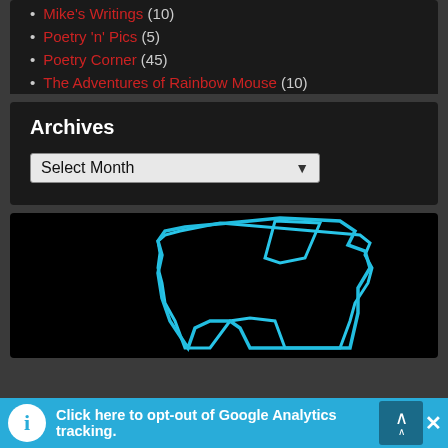Mike's Writings (10)
Poetry 'n' Pics (5)
Poetry Corner (45)
The Adventures of Rainbow Mouse (10)
Archives
Select Month
[Figure (map): Outline map of Washington state in cyan/blue on black background]
Click here to opt-out of Google Analytics tracking.